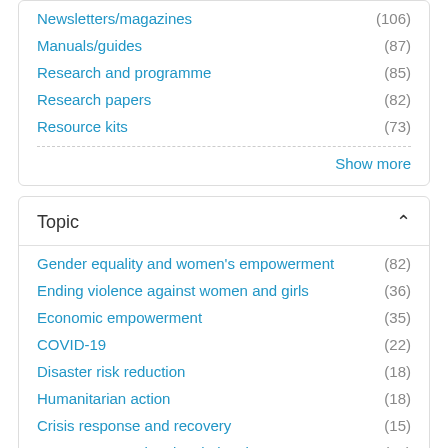Newsletters/magazines (106)
Manuals/guides (87)
Research and programme (85)
Research papers (82)
Resource kits (73)
Show more
Topic
Gender equality and women's empowerment (82)
Ending violence against women and girls (36)
Economic empowerment (35)
COVID-19 (22)
Disaster risk reduction (18)
Humanitarian action (18)
Crisis response and recovery (15)
Governance and national planning (15)
Migration (15)